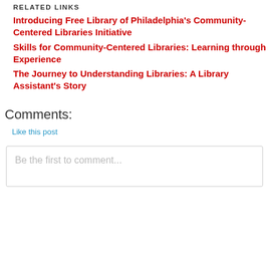RELATED LINKS
Introducing Free Library of Philadelphia's Community-Centered Libraries Initiative
Skills for Community-Centered Libraries: Learning through Experience
The Journey to Understanding Libraries: A Library Assistant's Story
Comments:
Like this post
Be the first to comment...